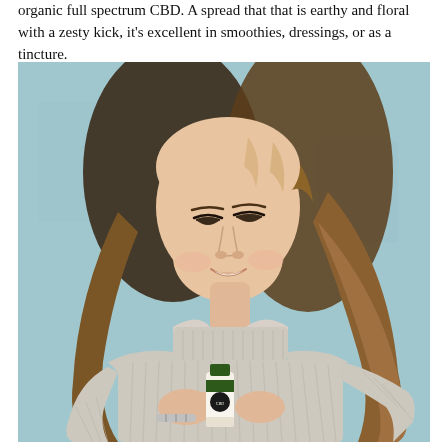organic full spectrum CBD. A spread that that is earthy and floral with a zesty kick, it's excellent in smoothies, dressings, or as a tincture.
[Figure (photo): A young woman with long blonde hair wearing a white ribbed turtleneck sweater, smiling and looking down at a small product bottle (CBD tincture) she is holding. She is standing in front of a light blue wall and wearing a silver bracelet.]